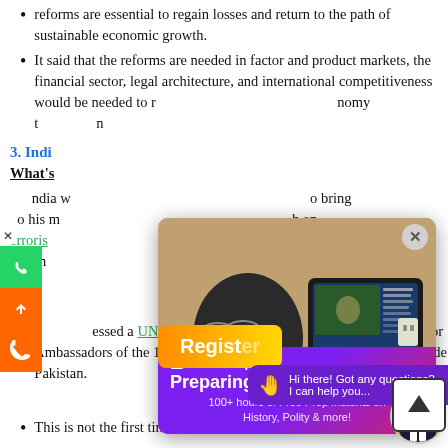reforms are essential to regain losses and return to the path of sustainable economic growth.
It said that the reforms are needed in factor and product markets, the financial sector, legal architecture, and international competitiveness would be needed to modernize the economy to...
[Figure (screenshot): Popup advertisement from BYJU'S IAS showing a person studying on a tablet, with banner: Preparing for IAS? 100+ hours of Free Prep Material on History, Polity & more!]
3. India...
What's...
India w... o bring his m... n on terrorism... an German...
...pressed a UNSC debate on terrorism, which was open only for Ambassadors of the 15 Security Council members, which don't include Pakistan.
This is not the first time Pakistan has tried to make